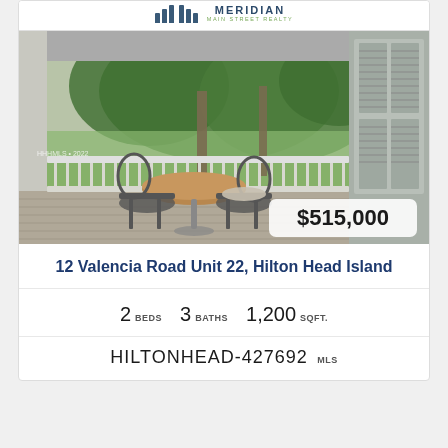MERIDIAN MAIN STREET REALTY (logo)
[Figure (photo): Screened porch with wrought iron bistro table and chairs, wooden deck, white railings and columns, view of trees and lawn beyond. Price badge showing $515,000 in lower right corner. Watermark text 'HHHMLS + 2022' in lower left.]
12 Valencia Road Unit 22, Hilton Head Island
2 BEDS   3 BATHS   1,200 SQFT.
HILTONHEAD-427692 MLS